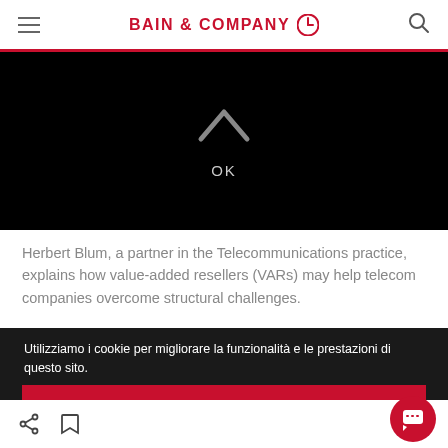BAIN & COMPANY
[Figure (screenshot): Dark video player screen with a caret/chevron up icon and OK text centered, on black background]
Herbert Blum, a partner in the Telecommunications practice, explains how value-added resellers (VARs) may help telecom companies overcome structural challenges.
Utilizziamo i cookie per migliorare la funzionalità e le prestazioni di questo sito.
ACCETTA TUTTI I COOKIE